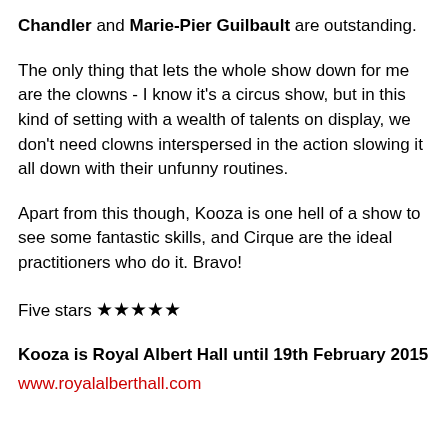Chandler and Marie-Pier Guilbault are outstanding.
The only thing that lets the whole show down for me are the clowns - I know it's a circus show, but in this kind of setting with a wealth of talents on display, we don't need clowns interspersed in the action slowing it all down with their unfunny routines.
Apart from this though, Kooza is one hell of a show to see some fantastic skills, and Cirque are the ideal practitioners who do it. Bravo!
Five stars ★★★★★
Kooza is Royal Albert Hall until 19th February 2015
www.royalalberthall.com